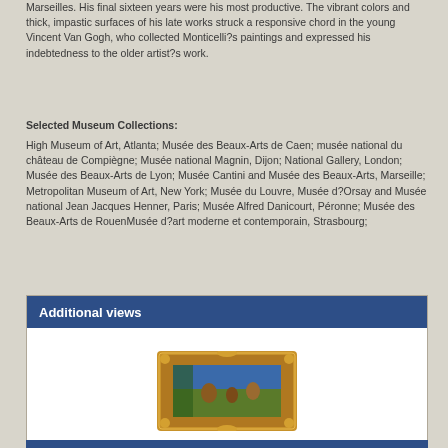Marseilles. His final sixteen years were his most productive. The vibrant colors and thick, impastic surfaces of his late works struck a responsive chord in the young Vincent Van Gogh, who collected Monticelli?s paintings and expressed his indebtedness to the older artist?s work.
Selected Museum Collections:
High Museum of Art, Atlanta; Musée des Beaux-Arts de Caen; musée national du château de Compiègne; Musée national Magnin, Dijon; National Gallery, London; Musée des Beaux-Arts de Lyon; Musée Cantini and Musée des Beaux-Arts, Marseille; Metropolitan Museum of Art, New York; Musée du Louvre, Musée d?Orsay and Musée national Jean Jacques Henner, Paris; Musée Alfred Danicourt, Péronne; Musée des Beaux-Arts de RouenMusée d?art moderne et contemporain, Strasbourg;
Additional views
[Figure (photo): A painting in an ornate golden frame showing a pastoral or figurative scene, displayed as an additional view of the artwork.]